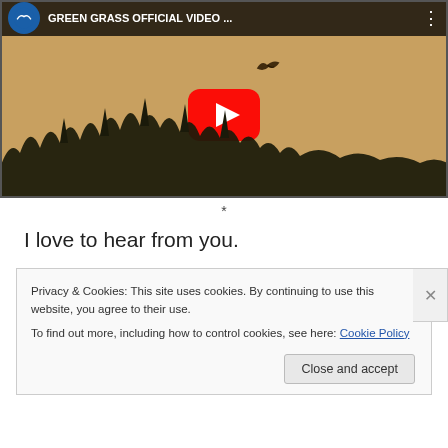[Figure (screenshot): YouTube video thumbnail showing 'GREEN GRASS OFFICIAL VIDEO ...' with a play button overlay, bird silhouette, and grass/bush silhouette against an orange-brown background]
*
I love to hear from you.
Privacy & Cookies: This site uses cookies. By continuing to use this website, you agree to their use.
To find out more, including how to control cookies, see here: Cookie Policy
Close and accept